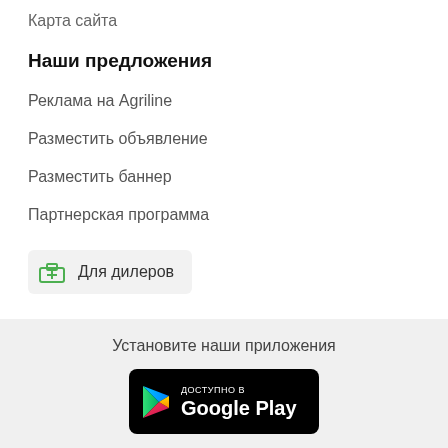Карта сайта
Наши предложения
Реклама на Agriline
Разместить объявление
Разместить баннер
Партнерская программа
Для дилеров
Установите наши приложения
[Figure (screenshot): Google Play badge — black rounded rectangle with Google Play logo and text 'ДОСТУПНО В Google Play']